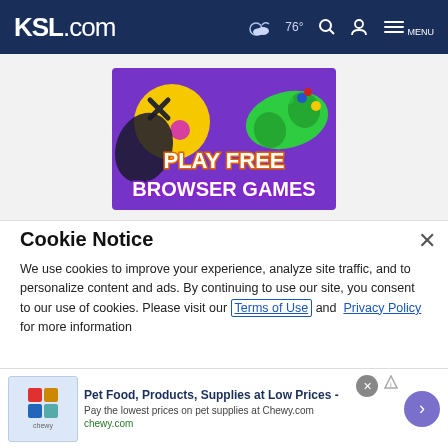KSL.com — 76° [weather icon] [search icon] [account icon] MENU
[Figure (illustration): Gaming advertisement banner with purple background showing a yellow ball character with game controller buttons, a green game controller, and bold text reading 'PLAY FREE BROWSER GAMES']
Cookie Notice
We use cookies to improve your experience, analyze site traffic, and to personalize content and ads. By continuing to use our site, you consent to our use of cookies. Please visit our Terms of Use and Privacy Policy for more information
[Figure (screenshot): Bottom advertisement bar for Chewy.com showing pet food products with headline 'Pet Food, Products, Supplies at Low Prices -', subtext 'Pay the lowest prices on pet supplies at Chewy.com', domain 'chewy.com', with product thumbnails and navigation arrow button]